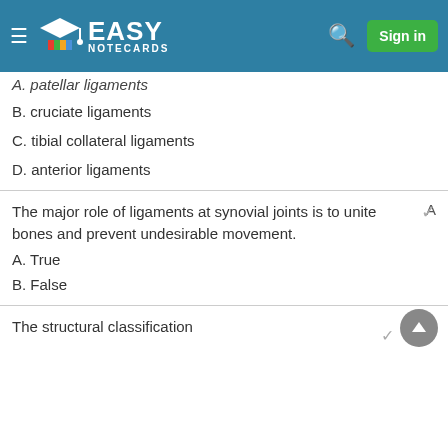Easy Notecards — Sign in
A. patellar ligaments
B. cruciate ligaments
C. tibial collateral ligaments
D. anterior ligaments
The major role of ligaments at synovial joints is to unite bones and prevent undesirable movement.    A
A. True
B. False
The structural classification    A